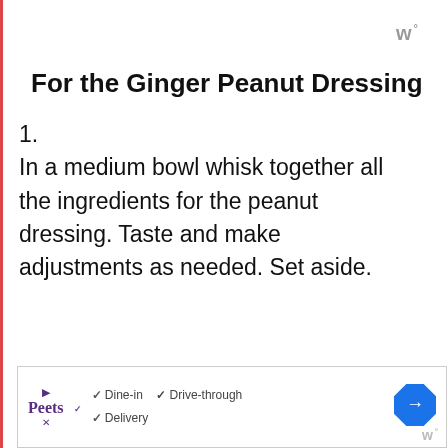w°
For the Ginger Peanut Dressing
1. In a medium bowl whisk together all the ingredients for the peanut dressing. Taste and make adjustments as needed. Set aside.
Salad and Assembly
1. Chop and prepare all ingredients for the salad. Transfer and toss
[Figure (other): Advertisement banner for Peet's Coffee showing Dine-in, Drive-through, and Delivery options with a navigation icon]